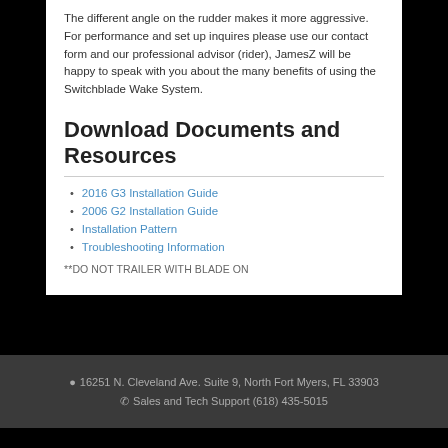The different angle on the rudder makes it more aggressive.  For performance and set up inquires please use our contact form and our professional advisor (rider), JamesZ will be happy to speak with you about the many benefits of using the Switchblade Wake System.
Download Documents and Resources
2016 G3 Installation Guide
2006 G2 Installation Guide
Installation Pattern
Troubleshooting Information
**DO NOT TRAILER WITH BLADE ON
16251 N. Cleveland Ave. Suite 9, North Fort Myers, FL 33903  Sales and Tech Support (618) 435-5015